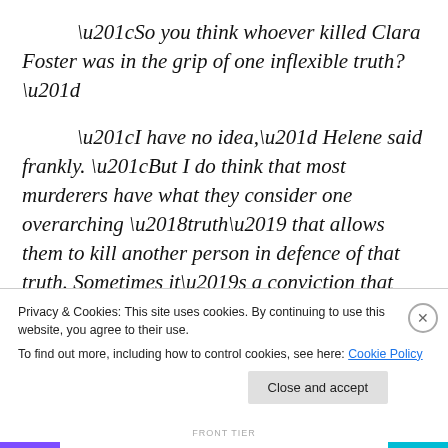“So you think whoever killed Clara Foster was in the grip of one inflexible truth?”
“I have no idea,” Helene said frankly. “But I do think that most murderers have what they consider one overarching ‘truth’ that allows them to kill another person in defence of that truth. Sometimes it’s a conviction that they’ve been treated unfairly, or that money will, in fact, buy happiness and wholeness, or that family always comes first. There are any number of one-truths that can
Privacy & Cookies: This site uses cookies. By continuing to use this website, you agree to their use.
To find out more, including how to control cookies, see here: Cookie Policy
Close and accept